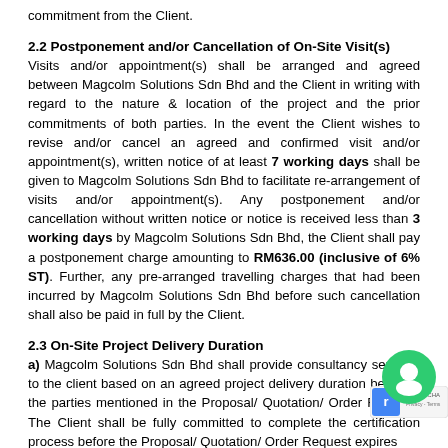commitment from the Client.
2.2 Postponement and/or Cancellation of On-Site Visit(s)
Visits and/or appointment(s) shall be arranged and agreed between Magcolm Solutions Sdn Bhd and the Client in writing with regard to the nature & location of the project and the prior commitments of both parties. In the event the Client wishes to revise and/or cancel an agreed and confirmed visit and/or appointment(s), written notice of at least 7 working days shall be given to Magcolm Solutions Sdn Bhd to facilitate re-arrangement of visits and/or appointment(s). Any postponement and/or cancellation without written notice or notice is received less than 3 working days by Magcolm Solutions Sdn Bhd, the Client shall pay a postponement charge amounting to RM636.00 (inclusive of 6% ST). Further, any pre-arranged travelling charges that had been incurred by Magcolm Solutions Sdn Bhd before such cancellation shall also be paid in full by the Client.
2.3 On-Site Project Delivery Duration
a) Magcolm Solutions Sdn Bhd shall provide consultancy services to the client based on an agreed project delivery duration between the parties mentioned in the Proposal/ Quotation/ Order Request. The Client shall be fully committed to complete the certification process before the Proposal/ Quotation/ Order Request expires